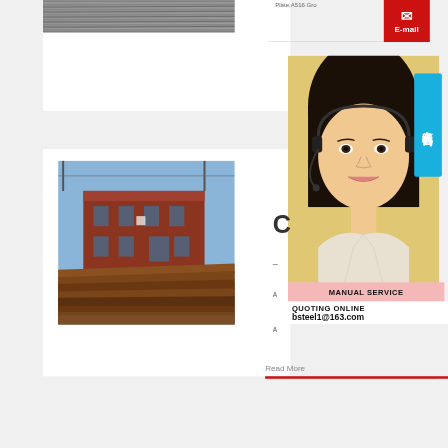[Figure (photo): Stack of steel plates photographed from above at a steel yard, grey tones]
Plate,A516 Gro
[Figure (photo): Red E-mail button with white text]
[Figure (photo): Stack of brown/rust-colored steel plates stacked at a factory yard with red industrial building in background]
[Figure (photo): Smiling Asian woman wearing a headset - customer service representative photo]
[Figure (infographic): Chinese text in blue button reading 在线咨询 (Online Consultation)]
C
–
A
A
[Figure (infographic): Pink banner with bold black text MANUAL SERVICE]
QUOTING ONLINE
bsteel1@163.com
Read More